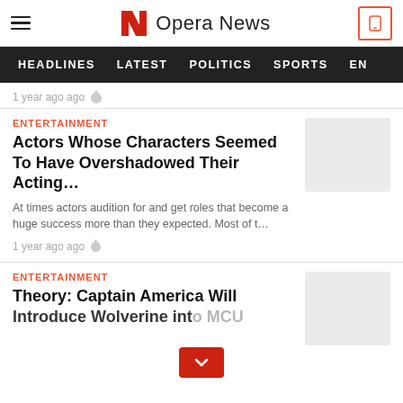Opera News
HEADLINES   LATEST   POLITICS   SPORTS   EN
1 year ago ago
ENTERTAINMENT
Actors Whose Characters Seemed To Have Overshadowed Their Acting…
At times actors audition for and get roles that become a huge success more than they expected. Most of t…
1 year ago ago
ENTERTAINMENT
Theory: Captain America Will Introduce Wolverine into MCU